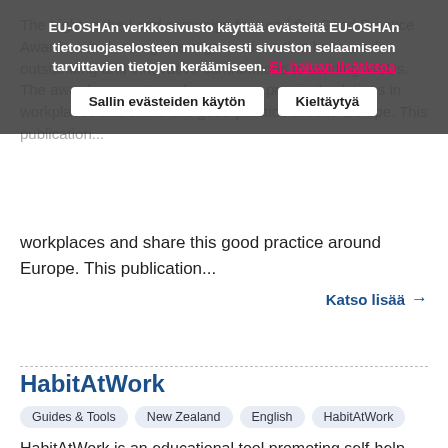The Lighten the Load campaign featured the Good Practice Awards, which recognise organisations that have made outstanding and innovative contributions to tackling MSDs. The awards promote and encourage practical solutions in workplaces and share this good practice around Europe. This publication...
EU-OSHAn verkkosivusto käyttää evästeitä EU-OSHAn tietosuojaselosteen mukaisesti sivuston selaamiseen tarvittavien tietojen keräämiseen. Ei, haluan lisätietoa
Sallin evästeiden käytön | Kieltäytyä
Katso lisää →
HabitAtWork
Guides & Tools | New Zealand | English | HabitAtWork
HabitAtWork is an educational tool promoting self-help and problem solving for preventing and managing discomfort, pain and injury. This tool is intended to prevent and manage discomfort, pain and injury in the industrial environment.